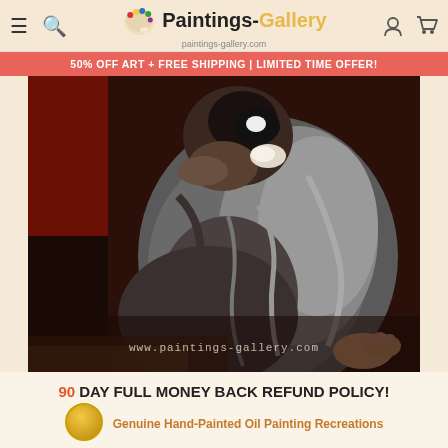Paintings-Gallery | paintings-gallery.com
50% OFF ART + FREE SHIPPING | LIMITED TIME OFFER!
[Figure (photo): Close-up detail of a classical oil painting showing a robed figure kneeling or crouching, with dark dramatic background, wearing grey robes with bare feet visible, watermarked with www.paintings-gallery.com]
90 DAY FULL MONEY BACK REFUND POLICY!
Genuine Hand-Painted Oil Painting Recreations